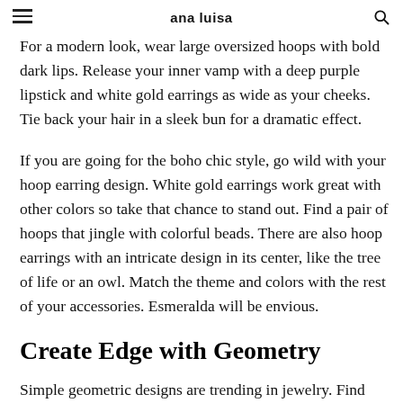ana luisa
For a modern look, wear large oversized hoops with bold dark lips. Release your inner vamp with a deep purple lipstick and white gold earrings as wide as your cheeks. Tie back your hair in a sleek bun for a dramatic effect.
If you are going for the boho chic style, go wild with your hoop earring design. White gold earrings work great with other colors so take that chance to stand out. Find a pair of hoops that jingle with colorful beads. There are also hoop earrings with an intricate design in its center, like the tree of life or an owl. Match the theme and colors with the rest of your accessories. Esmeralda will be envious.
Create Edge with Geometry
Simple geometric designs are trending in jewelry. Find white gold earrings with a strong and minimalist design to give any outfit an edge. Think of straight lines and needle-like shapes to clean and